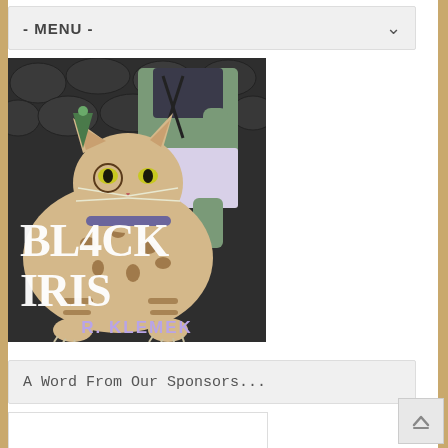- MENU -
[Figure (illustration): Book cover for 'Black Iris' by R. Klemek, featuring a large spotted and striped cat (resembling a Bengal or fantasy feline) in the foreground with a green-skinned fantasy female figure in dark armor seated behind it, against a dark stone wall background. The title 'BLACK IRIS' appears in large white serif text on the cover, and 'R. KLEMEK' appears in purple text at the bottom.]
A Word From Our Sponsors...